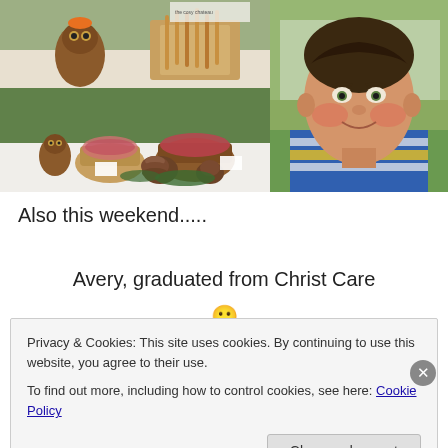[Figure (photo): Photo collage: top-left shows brown owl figurine and wicker baskets with breadsticks at a market stall; bottom-left shows table display with decorative owl, wicker baskets, pine cones and holiday greenery; right side shows close-up portrait of a young boy in a blue and yellow striped polo shirt smiling at camera outdoors.]
Also this weekend.....
Avery, graduated from Christ Care
Privacy & Cookies: This site uses cookies. By continuing to use this website, you agree to their use.
To find out more, including how to control cookies, see here: Cookie Policy
Close and accept